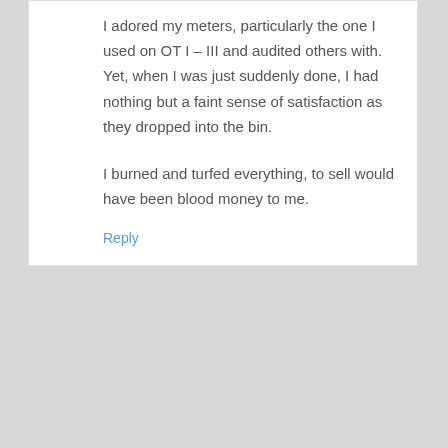I adored my meters, particularly the one I used on OT I – III and audited others with. Yet, when I was just suddenly done, I had nothing but a faint sense of satisfaction as they dropped into the bin.

I burned and turfed everything, to sell would have been blood money to me.
Reply
Annie Oakley says
May 22, 2018 at 5:44 am